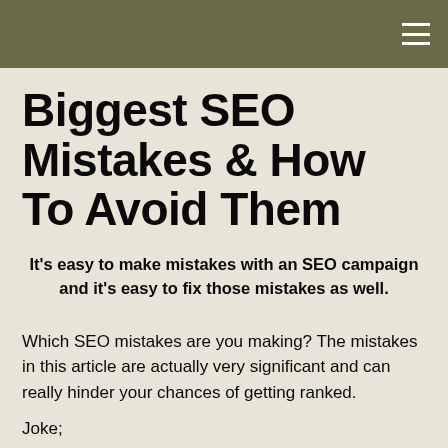Biggest SEO Mistakes & How To Avoid Them
It's easy to make mistakes with an SEO campaign and it's easy to fix those mistakes as well.
Which SEO mistakes are you making? The mistakes in this article are actually very significant and can really hinder your chances of getting ranked.
Joke;
“Where is the best place to hide a dead body?